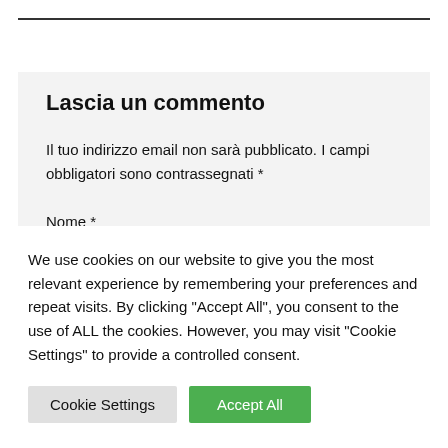Lascia un commento
Il tuo indirizzo email non sarà pubblicato. I campi obbligatori sono contrassegnati *
Nome *
We use cookies on our website to give you the most relevant experience by remembering your preferences and repeat visits. By clicking "Accept All", you consent to the use of ALL the cookies. However, you may visit "Cookie Settings" to provide a controlled consent.